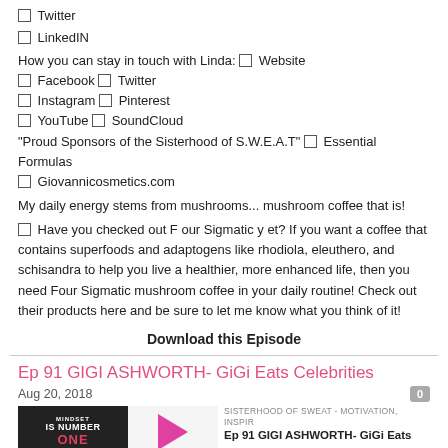☐ Twitter
☐ LinkedIN
How you can stay in touch with Linda: ☐ Website ☐ Facebook ☐ Twitter ☐ Instagram ☐ Pinterest ☐ YouTube ☐ SoundCloud "Proud Sponsors of the Sisterhood of S.W.E.A.T" ☐ Essential Formulas ☐ Giovannicosmetics.com
My daily energy stems from mushrooms... mushroom coffee that is!
☐ Have you checked out F our Sigmatic y et? If you want a coffee that contains superfoods and adaptogens like rhodiola, eleuthero, and schisandra to help you live a healthier, more enhanced life, then you need Four Sigmatic mushroom coffee in your daily routine! Check out their products here and be sure to let me know what you think of it!
Download this Episode
Ep 91 GIGI ASHWORTH- GiGi Eats Celebrities
Aug 20, 2018
[Figure (screenshot): Podcast episode card with thumbnail image showing 'MINDSET IS NUMBER ONE', a pink play button, and episode title 'Ep 91 GIGI ASHWORTH- GiGi Eats ...' with label 'SISTERHOOD OF SWEAT - MOTIVATION, INSPIR']